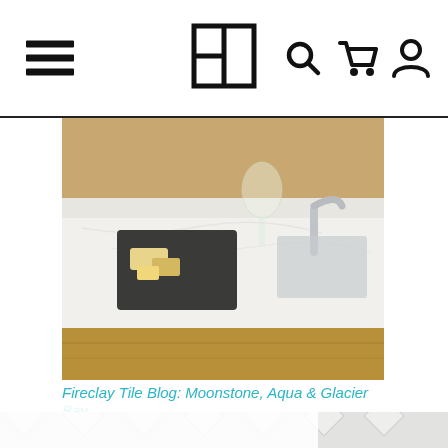Navigation bar with hamburger menu, logo, search, cart, and account icons
[Figure (photo): Kitchen countertop scene with cheese board, wine glasses, and modern faucet on white marble counter with wood cabinet]
Fireclay Tile Blog: Moonstone, Aqua & Glacier Bay
[Figure (photo): White herringbone/diagonal tile pattern close-up]
This website uses cookies to ensure you get the best experience on our website.
Learn More
Got it!